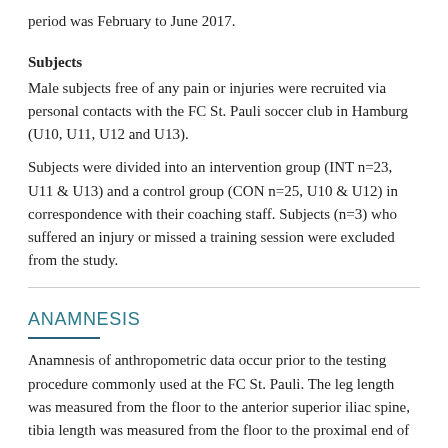period was February to June 2017.
Subjects
Male subjects free of any pain or injuries were recruited via personal contacts with the FC St. Pauli soccer club in Hamburg (U10, U11, U12 and U13).
Subjects were divided into an intervention group (INT n=23, U11 & U13) and a control group (CON n=25, U10 & U12) in correspondence with their coaching staff. Subjects (n=3) who suffered an injury or missed a training session were excluded from the study.
ANAMNESIS
Anamnesis of anthropometric data occur prior to the testing procedure commonly used at the FC St. Pauli. The leg length was measured from the floor to the anterior superior iliac spine, tibia length was measured from the floor to the proximal end of the